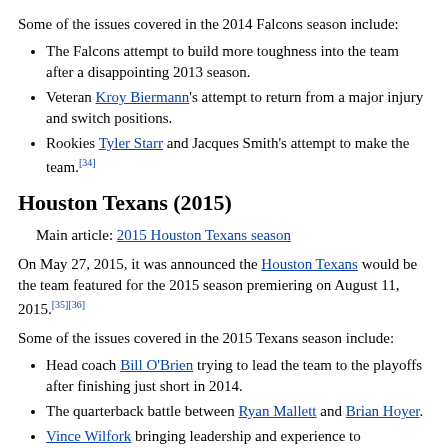Some of the issues covered in the 2014 Falcons season include:
The Falcons attempt to build more toughness into the team after a disappointing 2013 season.
Veteran Kroy Biermann's attempt to return from a major injury and switch positions.
Rookies Tyler Starr and Jacques Smith's attempt to make the team.[34]
Houston Texans (2015)
Main article: 2015 Houston Texans season
On May 27, 2015, it was announced the Houston Texans would be the team featured for the 2015 season premiering on August 11, 2015.[35][36]
Some of the issues covered in the 2015 Texans season include:
Head coach Bill O'Brien trying to lead the team to the playoffs after finishing just short in 2014.
The quarterback battle between Ryan Mallett and Brian Hoyer.
Vince Wilfork bringing leadership and experience to